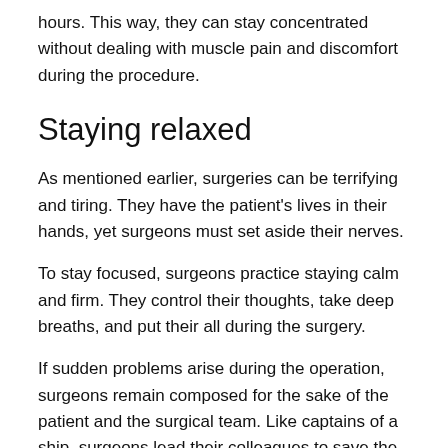hours. This way, they can stay concentrated without dealing with muscle pain and discomfort during the procedure.
Staying relaxed
As mentioned earlier, surgeries can be terrifying and tiring. They have the patient's lives in their hands, yet surgeons must set aside their nerves.
To stay focused, surgeons practice staying calm and firm. They control their thoughts, take deep breaths, and put their all during the surgery.
If sudden problems arise during the operation, surgeons remain composed for the sake of the patient and the surgical team. Like captains of a ship, surgeons lead their colleagues to save the patient.